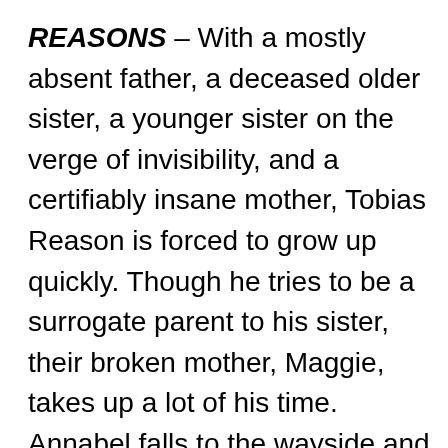REASONS – With a mostly absent father, a deceased older sister, a younger sister on the verge of invisibility, and a certifiably insane mother, Tobias Reason is forced to grow up quickly. Though he tries to be a surrogate parent to his sister, their broken mother, Maggie, takes up a lot of his time. Annabel falls to the wayside and becomes a ghost in their chaotic existence. When Maggie flippantly hands her mother's house over to Tobias, he sees an opportunity to learn how and why his family became so shattered. Be careful what you wish for. When his world begins to